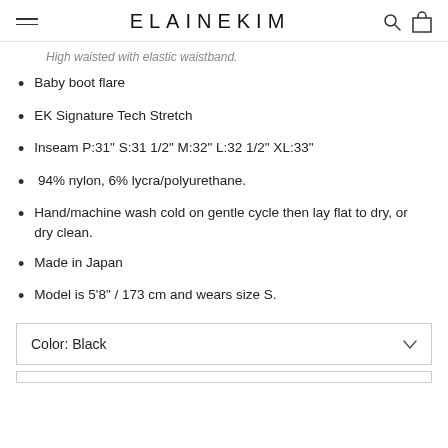ELAINEKIM
High waisted with elastic waistband.
Baby boot flare
EK Signature Tech Stretch
Inseam P:31" S:31 1/2" M:32" L:32 1/2" XL:33"
94% nylon, 6% lycra/polyurethane.
Hand/machine wash cold on gentle cycle then lay flat to dry, or dry clean.
Made in Japan
Model is 5'8" / 173 cm and wears size S.
Color: Black